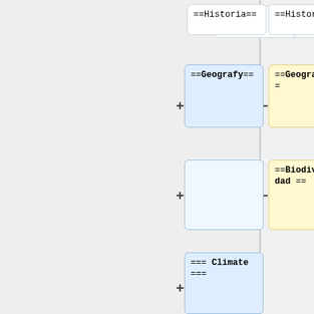[Figure (screenshot): Wikipedia diff view showing two columns of wiki markup sections. Left column (yellow/removed) shows ==Geografía== and ==Biodiversidad== sections. Right column (blue/added) shows ==Geografy==, an empty blue box, === Climate ===, and a text block describing the climate of andrar.]
==Historia==
==Historia==
==Geografía==
==Geografy==
==Biodiversidad ==
=== Climate ===
The climate of andrar is biodiverse, but it is mainly dry-tropical, especially in the south of the country where the Sarian...